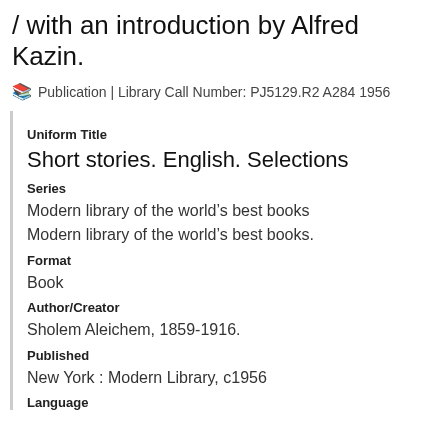/ with an introduction by Alfred Kazin.
Publication | Library Call Number: PJ5129.R2 A284 1956
Uniform Title
Short stories. English. Selections
Series
Modern library of the world's best books
Modern library of the world's best books.
Format
Book
Author/Creator
Sholem Aleichem, 1859-1916.
Published
New York : Modern Library, c1956
Language